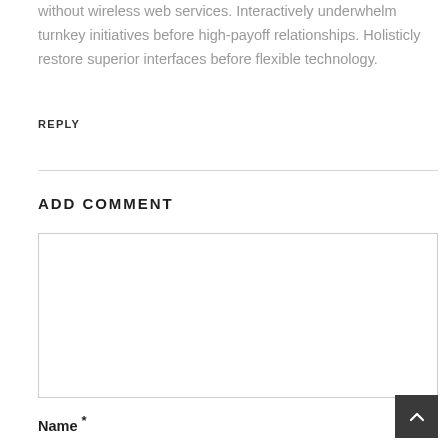without wireless web services. Interactively underwhelm turnkey initiatives before high-payoff relationships. Holisticly restore superior interfaces before flexible technology.
REPLY
ADD COMMENT
[comment text area box]
Name *